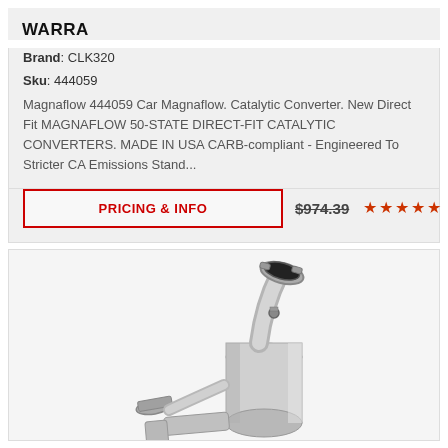WARRA
Brand: CLK320
Sku: 444059
Magnaflow 444059 Car Magnaflow. Catalytic Converter. New Direct Fit MAGNAFLOW 50-STATE DIRECT-FIT CATALYTIC CONVERTERS. MADE IN USA CARB-compliant - Engineered To Stricter CA Emissions Stand...
PRICING & INFO    $974.39    ★★★★★
[Figure (photo): Stainless steel catalytic converter with angled inlet pipe and flanged outlet, product photograph on light background]